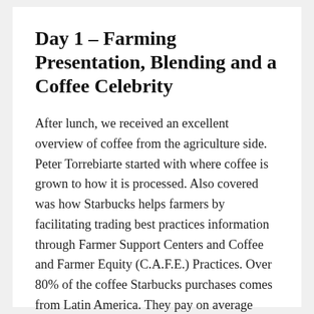Day 1 – Farming Presentation, Blending and a Coffee Celebrity
After lunch, we received an excellent overview of coffee from the agriculture side. Peter Torrebiarte started with where coffee is grown to how it is processed. Also covered was how Starbucks helps farmers by facilitating trading best practices information through Farmer Support Centers and Coffee and Farmer Equity (C.A.F.E.) Practices. Over 80% of the coffee Starbucks purchases comes from Latin America. They pay on average between $1.47-$1.50 per pound of green coffee (freight on board).